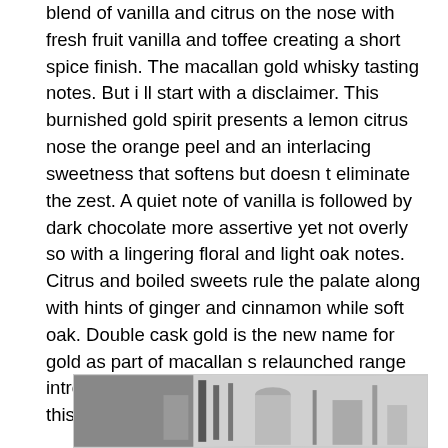blend of vanilla and citrus on the nose with fresh fruit vanilla and toffee creating a short spice finish. The macallan gold whisky tasting notes. But i ll start with a disclaimer. This burnished gold spirit presents a lemon citrus nose the orange peel and an interlacing sweetness that softens but doesn t eliminate the zest. A quiet note of vanilla is followed by dark chocolate more assertive yet not overly so with a lingering floral and light oak notes. Citrus and boiled sweets rule the palate along with hints of ginger and cinnamon while soft oak. Double cask gold is the new name for gold as part of macallan s relaunched range introduced in 2018. To honor that i ll dedicate this week to macallan.
[Figure (photo): Partial image at the bottom of the page showing what appears to be a bottle or bar scene, cut off at the bottom edge.]